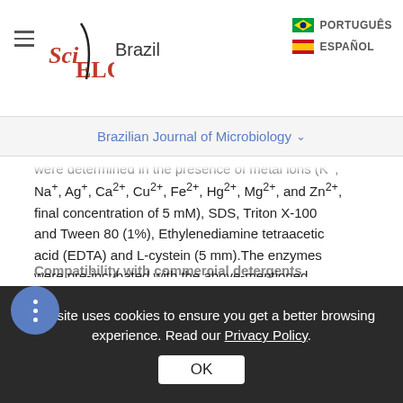SciELO Brazil — PORTUGUÊS / ESPAÑOL
Brazilian Journal of Microbiology
were determined in the presence of metal ions (Na+, Ag+, Ca2+, Cu2+, Fe2+, Hg2+, Mg2+, and Zn2+, final concentration of 5 mM), SDS, Triton X-100 and Tween 80 (1%), Ethylenediamine tetraacetic acid (EDTA) and L-cystein (5 mm).The enzymes were pre-incubated with the above-mentioned chemicals for 1 h at 50 °C, afterwards, the relative activity (%) was calculated with respect to the control where the reaction was carried out in the absence of any additive under the optimum assay conditions (Lo et al., 2001).
Compatibility with commercial detergents
This site uses cookies to ensure you get a better browsing experience. Read our Privacy Policy.